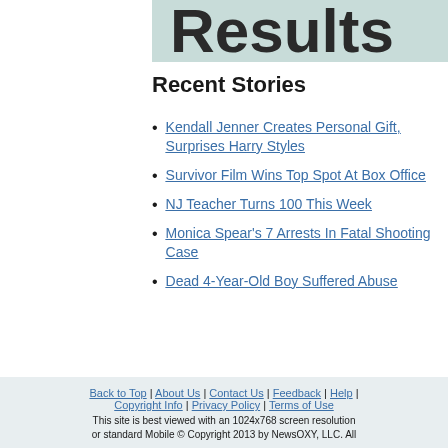[Figure (other): Partial banner/header image with text 'Results' on a teal/mint background]
Recent Stories
Kendall Jenner Creates Personal Gift, Surprises Harry Styles
Survivor Film Wins Top Spot At Box Office
NJ Teacher Turns 100 This Week
Monica Spear's 7 Arrests In Fatal Shooting Case
Dead 4-Year-Old Boy Suffered Abuse
Back to Top | About Us | Contact Us | Feedback | Help | Copyright Info | Privacy Policy | Terms of Use
This site is best viewed with an 1024x768 screen resolution or standard Mobile © Copyright 2013 by NewsOXY, LLC. All